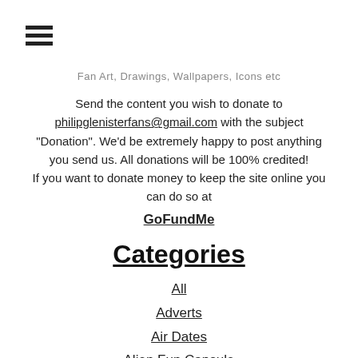Fan Art, Drawings, Wallpapers, Icons etc
Send the content you wish to donate to philipglenisterfans@gmail.com with the subject "Donation". We'd be extremely happy to post anything you send us. All donations will be 100% credited! If you want to donate money to keep the site online you can do so at GoFundMe
Categories
All
Adverts
Air Dates
Alien Fun Capsule
Alien: River Of Pain
Ant Anstead
Appearances
Ashes To Ashes
Auction
Audi